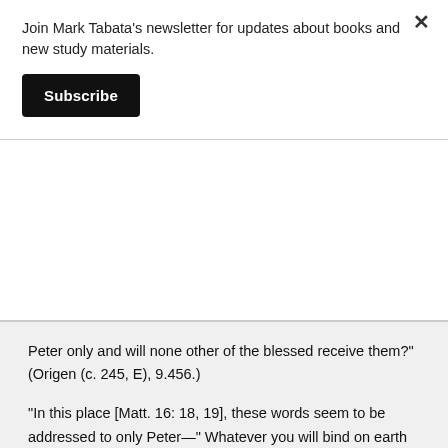Join Mark Tabata's newsletter for updates about books and new study materials.
Subscribe
Peter only and will none other of the blessed receive them?” (Origen (c. 245, E), 9.456.)
“In this place [Matt. 16: 18, 19], these words seem to be addressed to only Peter—” Whatever you will bind on earth will be bound in heaven.” However, in the Gospel of John, the Savior gave the Holy Spirit to the disciples by breathing upon them and said, “Receive the Holy Spirit, etc.” Many then will say to the Savior, “You are the Christ, the Son of the living God.” . . . And if anyone says this to Him . . . through the Father in heaven, he will obtain the